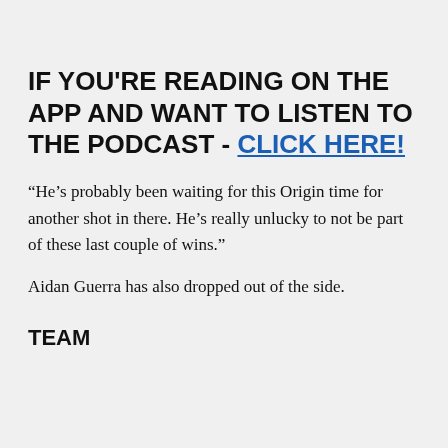IF YOU'RE READING ON THE APP AND WANT TO LISTEN TO THE PODCAST - CLICK HERE!
“He’s probably been waiting for this Origin time for another shot in there. He’s really unlucky to not be part of these last couple of wins.”
Aidan Guerra has also dropped out of the side.
TEAM